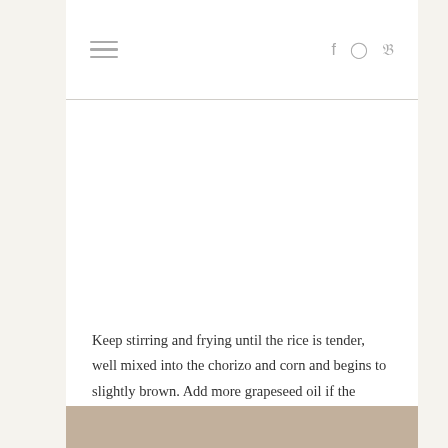Navigation header with hamburger menu and social icons (Facebook, Instagram, Pinterest)
[Figure (photo): Large photo area of a food dish, mostly white/blank in this crop — the image content is not visible in this portion of the page]
Keep stirring and frying until the rice is tender, well mixed into the chorizo and corn and begins to slightly brown. Add more grapeseed oil if the skillet is dry.
[Figure (photo): Partial photo showing a cooking scene with what appears to be a bowl, wooden utensils, and a glass jar on a wooden surface]